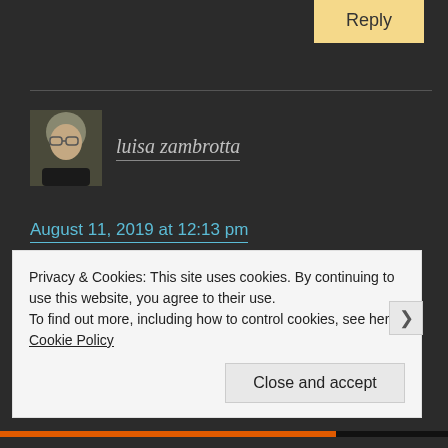[Figure (other): Reply button (tan/gold colored)]
[Figure (photo): Avatar photo of luisa zambrotta — older woman with glasses]
luisa zambrotta
August 11, 2019 at 12:13 pm
Beautiful poem
❤
★ Liked by 2 people
Privacy & Cookies: This site uses cookies. By continuing to use this website, you agree to their use.
To find out more, including how to control cookies, see here: Cookie Policy
Close and accept